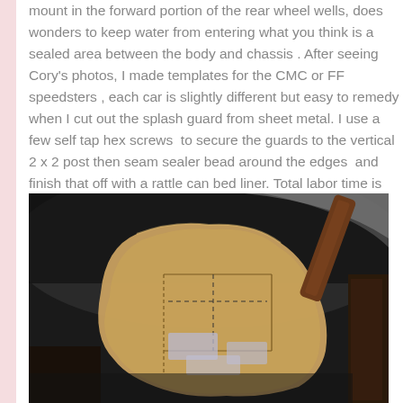mount in the forward portion of the rear wheel wells, does wonders to keep water from entering what you think is a sealed area between the body and chassis . After seeing Cory's photos, I made templates for the CMC or FF speedsters , each car is slightly different but easy to remedy when I cut out the splash guard from sheet metal. I use a few self tap hex screws  to secure the guards to the vertical 2 x 2 post then seam sealer bead around the edges  and finish that off with a rattle can bed liner. Total labor time is under 3 hours.
 (Photos by Cory Drake)
[Figure (photo): A cardboard template for a splash guard laid out inside a vehicle's wheel well area, with dark surroundings and visible metal components.]